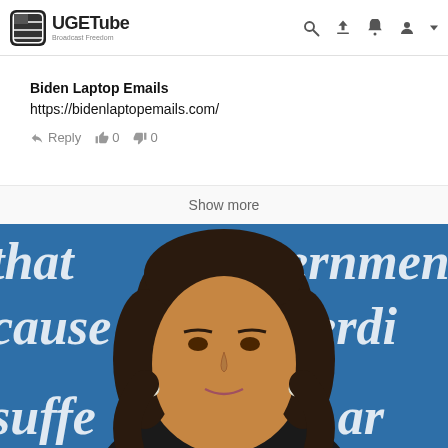UGETube Broadcast Freedom
Biden Laptop Emails
https://bidenlaptopemails.com/
Reply 0 0
Show more
[Figure (photo): Close-up photo of a woman with dark hair against a blue background with white text/words visible. Background text includes partial words: 'that', 'governments', 'cause', 'cerdi', 'suffe', 'ls ar'.]